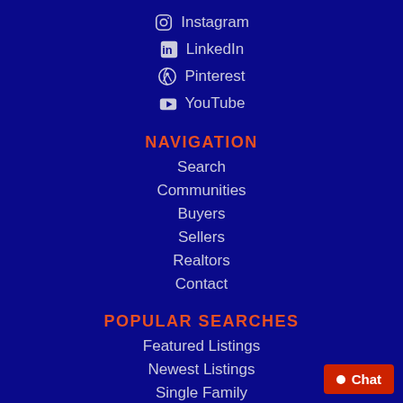Instagram
LinkedIn
Pinterest
YouTube
NAVIGATION
Search
Communities
Buyers
Sellers
Realtors
Contact
POPULAR SEARCHES
Featured Listings
Newest Listings
Single Family
Chat